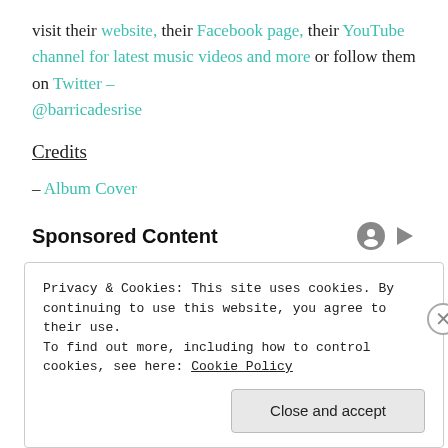visit their website, their Facebook page, their YouTube channel for latest music videos and more or follow them on Twitter – @barricadesrise
Credits
– Album Cover
Sponsored Content
Privacy & Cookies: This site uses cookies. By continuing to use this website, you agree to their use.
To find out more, including how to control cookies, see here: Cookie Policy